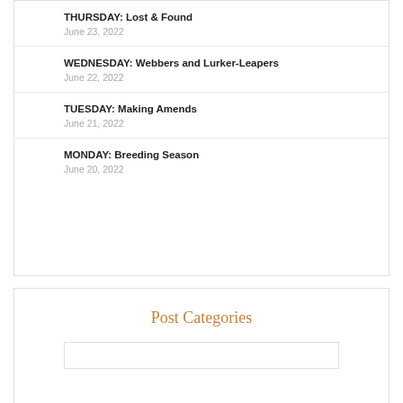THURSDAY: Lost & Found
June 23, 2022
WEDNESDAY: Webbers and Lurker-Leapers
June 22, 2022
TUESDAY: Making Amends
June 21, 2022
MONDAY: Breeding Season
June 20, 2022
Post Categories